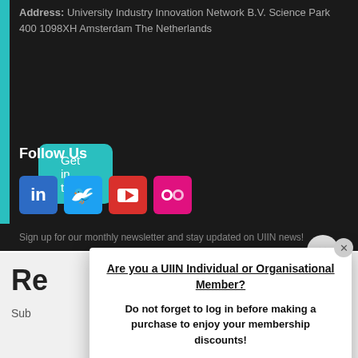Address: University Industry Innovation Network B.V. Science Park 400 1098XH Amsterdam The Netherlands
Get in touch
Follow Us
[Figure (illustration): Social media icons: LinkedIn (blue), Twitter (light blue), YouTube (red), Flickr (pink)]
Sign up for our monthly newsletter and stay updated on UIIN news!
Re
Sub
Are you a UIIN Individual or Organisational Member?
Do not forget to log in before making a purchase to enjoy your membership discounts!
Login →